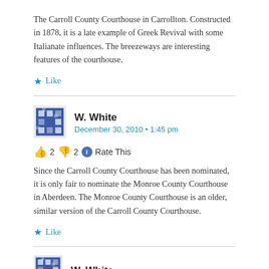The Carroll County Courthouse in Carrollton. Constructed in 1878, it is a late example of Greek Revival with some Italianate influences. The breezeways are interesting features of the courthouse.
Like
W. White
December 30, 2010 • 1:45 pm
👍 2 👎 2 ℹ Rate This
Since the Carroll County Courthouse has been nominated, it is only fair to nominate the Monroe County Courthouse in Aberdeen. The Monroe County Courthouse is an older, similar version of the Carroll County Courthouse.
Like
W. White